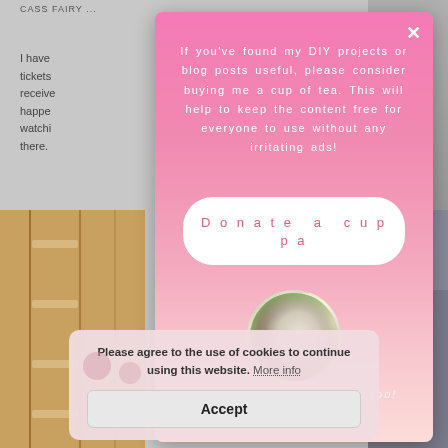CASS FAIRY ...
I have ... ve got tickets ... week I receive ... happen ... watching ... e there.
[Figure (screenshot): Background image of wooden furniture/shelving on left side]
[Figure (screenshot): Background image of dark surface on right side]
If you've found my DIY projects or blog posts useful, please consider buying me a cup of tea. This will help to keep the content free for everyone to use without any irritating ads!
[Figure (illustration): Round circular button: Donate a cuppa]
[Figure (photo): Circular photo of a cup of tea with biscuits on a saucer, outdoors background]
Following & sharing helps too!
Please agree to the use of cookies to continue using this website. More info
Accept